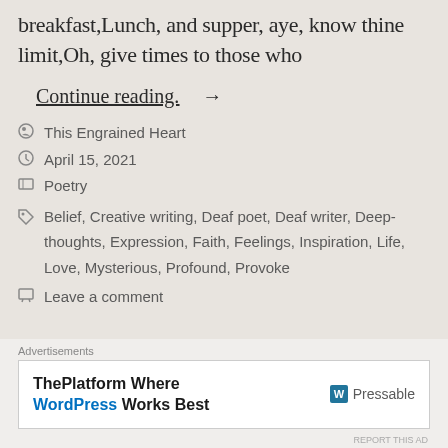breakfast,Lunch, and supper, aye, know thine limit,Oh, give times to those who
Continue reading. →
This Engrained Heart
April 15, 2021
Poetry
Belief, Creative writing, Deaf poet, Deaf writer, Deep-thoughts, Expression, Faith, Feelings, Inspiration, Life, Love, Mysterious, Profound, Provoke
Leave a comment
Advertisements
ThePlatform Where WordPress Works Best  Pressable